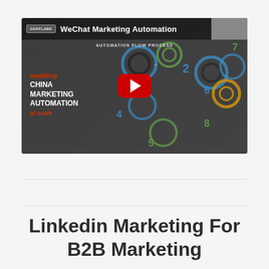[Figure (screenshot): YouTube video thumbnail for 'WeChat Marketing Automation' showing a Chatlabs channel video with a red play button, automation flow process infographic with interconnected circles, and text 'enabling CHINA MARKETING AUTOMATION at scale' on the left side]
Linkedin Marketing For B2B Marketing